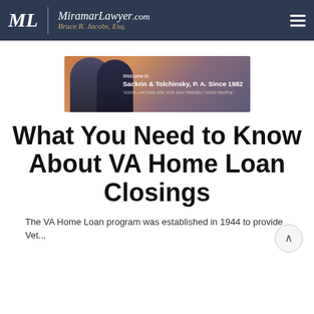MiramarLawyer.com — Bruce R. Jacobs, Esq.
[Figure (photo): Banner image showing two lawyers in suits with text 'Welcome to Sackrin & Tolchinsky, P. A. Since 1982' and a tagline 'GOOD LAWYERS ARE NICE AND FRIENDLY GOOD PEOPLE.']
What You Need to Know About VA Home Loan Closings
The VA Home Loan program was established in 1944 to provide Vet...